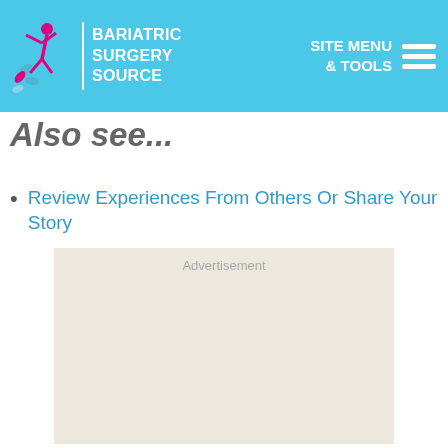BARIATRIC SURGERY SOURCE | SITE MENU & TOOLS
Also see...
Review Experiences From Others Or Share Your Story
[Figure (other): Advertisement placeholder box with light beige background and 'Advertisement' label text]